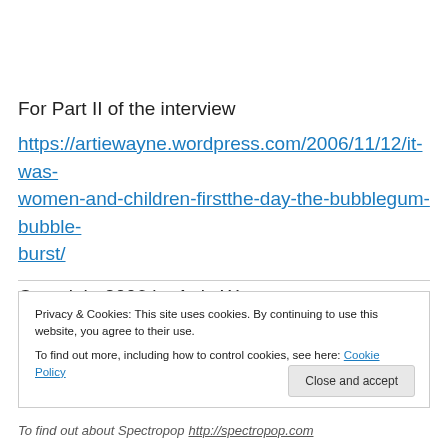For Part II of the interview
https://artiewayne.wordpress.com/2006/11/12/it-was-women-and-children-firstthe-day-the-bubblegum-bubble-burst/
Copyright 2006 by Artie Wayne
Privacy & Cookies: This site uses cookies. By continuing to use this website, you agree to their use.
To find out more, including how to control cookies, see here: Cookie Policy
Close and accept
To find out about Spectropop http://spectropop.com